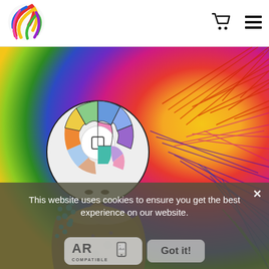[Figure (logo): Colorful swirling paint strokes logo]
[Figure (photo): Colorful artwork/illustration showing a stylized female figure with a mosaic/stained-glass patterned circular head against a rainbow burst background with radial paint strokes in reds, yellows, greens, blues, and purples]
This website uses cookies to ensure you get the best experience on our website.
[Figure (logo): AR Compatible badge with phone icon and image icon]
Got it!